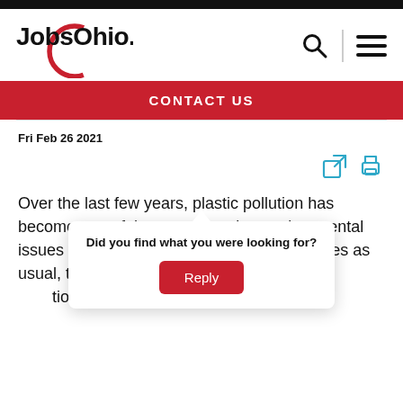[Figure (logo): JobsOhio logo with red circular arc and bold black text]
CONTACT US
Fri Feb 26 2021
[Figure (infographic): Share and print icons in teal/blue color]
Over the last few years, plastic pollution has become one of the most pressing environmental issues facing our planet. If business continues as usual, t[...] dicts that, b[...] tion on the pla[...] st
[Figure (screenshot): Popup overlay: 'Did you find what you were looking for?' with a red Reply button]